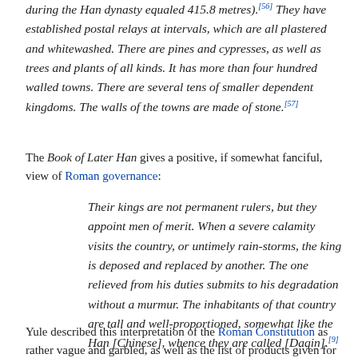during the Han dynasty equaled 415.8 metres). They have established postal relays at intervals, which are all plastered and whitewashed. There are pines and cypresses, as well as trees and plants of all kinds. It has more than four hundred walled towns. There are several tens of smaller dependent kingdoms. The walls of the towns are made of stone.[57]
The Book of Later Han gives a positive, if somewhat fanciful, view of Roman governance:
Their kings are not permanent rulers, but they appoint men of merit. When a severe calamity visits the country, or untimely rain-storms, the king is deposed and replaced by another. The one relieved from his duties submits to his degradation without a murmur. The inhabitants of that country are tall and well-proportioned, somewhat like the Han [Chinese], whence they are called [Daqin].[9]
Yule described this interpretation of the Roman Constitution as rather vague and garbled, as well as the list of products given for